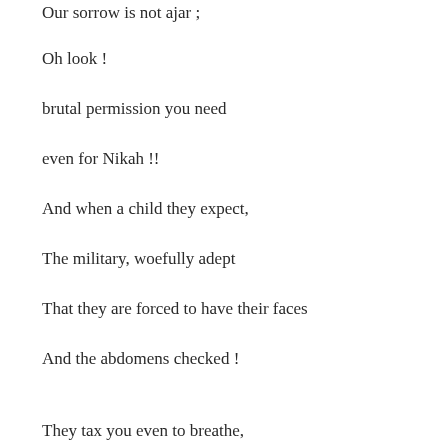Our sorrow is not ajar ;
Oh look !
brutal permission you need
even for Nikah !!
And when a child they expect,
The military, woefully adept
That they are forced to have their faces
And the abdomens checked !
They tax you even to breathe,